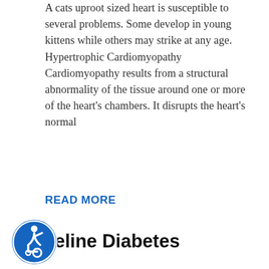A cats uproot sized heart is susceptible to several problems. Some develop in young kittens while others may strike at any age. Hypertrophic Cardiomyopathy Cardiomyopathy results from a structural abnormality of the tissue around one or more of the heart's chambers. It disrupts the heart's normal
READ MORE
Feline Diabetes
Diabetes mellitus is a common disease in which a cat's body does not make enough insulin or has difficulty using it. This hormone is produced in the pancreas. Its job is to help move glucose from the bloodstream into the body's cells to provide them with a source of energy. Many cats with diabetes
READ MORE